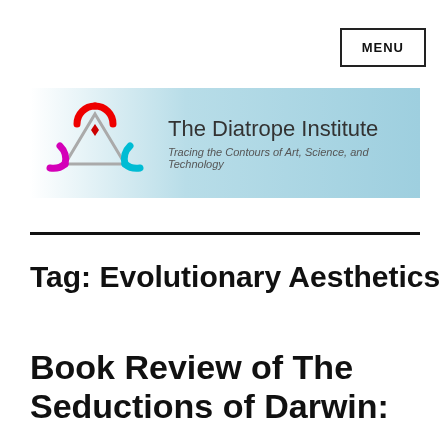MENU
[Figure (logo): The Diatrope Institute logo with colorful triangle symbol and text: 'The Diatrope Institute – Tracing the Contours of Art, Science, and Technology' on a light blue gradient banner]
Tag: Evolutionary Aesthetics
Book Review of The Seductions of Darwin: